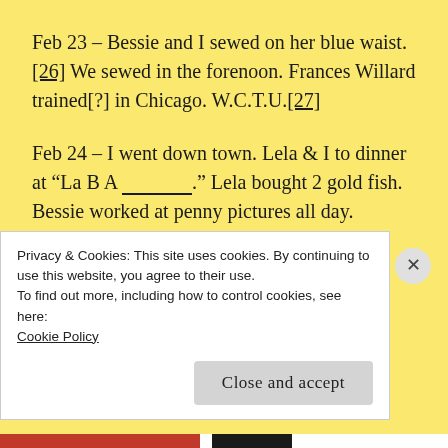Feb 23 – Bessie and I sewed on her blue waist. [26] We sewed in the forenoon. Frances Willard trained[?] in Chicago. W.C.T.U.[27]
Feb 24 – I went down town. Lela & I to dinner at "La B A _______." Lela bought 2 gold fish. Bessie worked at penny pictures all day.
Feb 25 – H.A. & Bess toned & washed 636
Privacy & Cookies: This site uses cookies. By continuing to use this website, you agree to their use.
To find out more, including how to control cookies, see here:
Cookie Policy
Close and accept